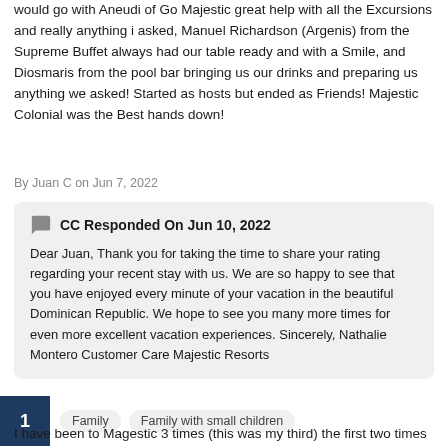would go with Aneudi of Go Majestic great help with all the Excursions and really anything i asked, Manuel Richardson (Argenis) from the Supreme Buffet always had our table ready and with a Smile, and Diosmaris from the pool bar bringing us our drinks and preparing us anything we asked! Started as hosts but ended as Friends! Majestic Colonial was the Best hands down!
By Juan C on Jun 7, 2022
CC Responded On Jun 10, 2022
Dear Juan, Thank you for taking the time to share your rating regarding your recent stay with us. We are so happy to see that you have enjoyed every minute of your vacation in the beautiful Dominican Republic. We hope to see you many more times for even more excellent vacation experiences. Sincerely, Nathalie Montero Customer Care Majestic Resorts
Family
Family with small children
I have been to Magestic 3 times (this was my third) the first two times were wonderful the food was great, the staff was nice, and